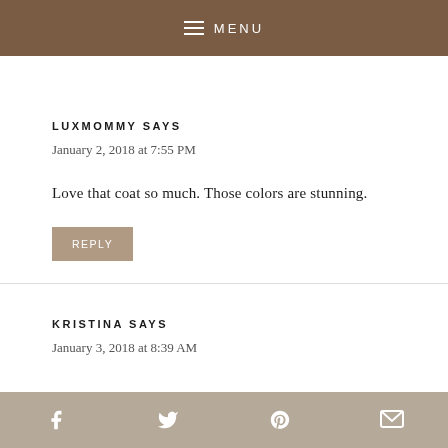MENU
LUXMOMMY SAYS
January 2, 2018 at 7:55 PM
Love that coat so much. Those colors are stunning.
REPLY
KRISTINA SAYS
January 3, 2018 at 8:39 AM
Social share icons: Facebook, Twitter, Pinterest, Email